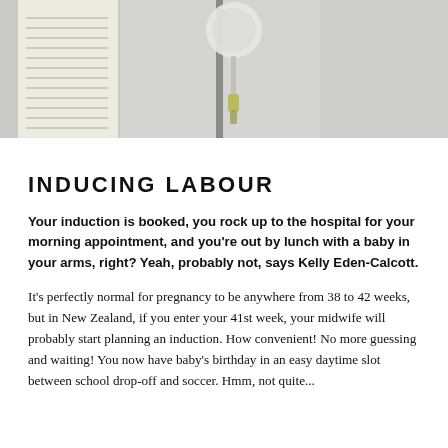[Figure (photo): Close-up photo of an IV drip / intravenous bag and tubing in a clinical/hospital setting, with what appears to be a document or chart visible on the left side.]
INDUCING LABOUR
Your induction is booked, you rock up to the hospital for your morning appointment, and you're out by lunch with a baby in your arms, right? Yeah, probably not, says Kelly Eden-Calcott.
It's perfectly normal for pregnancy to be anywhere from 38 to 42 weeks, but in New Zealand, if you enter your 41st week, your midwife will probably start planning an induction. How convenient! No more guessing and waiting! You now have baby's birthday in an easy daytime slot between school drop-off and soccer. Hmm, not quite...